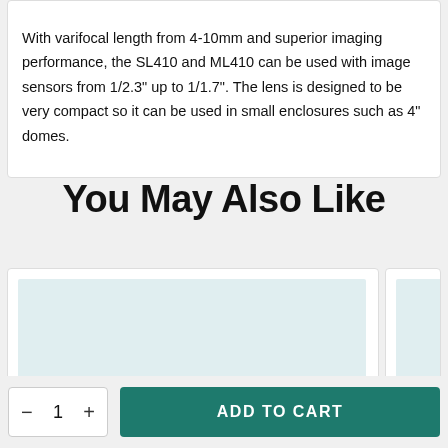With varifocal length from 4-10mm and superior imaging performance, the SL410 and ML410 can be used with image sensors from 1/2.3" up to 1/1.7". The lens is designed to be very compact so it can be used in small enclosures such as 4" domes.
You May Also Like
[Figure (other): Product card placeholder with light blue-green background image area]
[Figure (other): Partially visible second product card with light blue-green background and back-to-top arrow button]